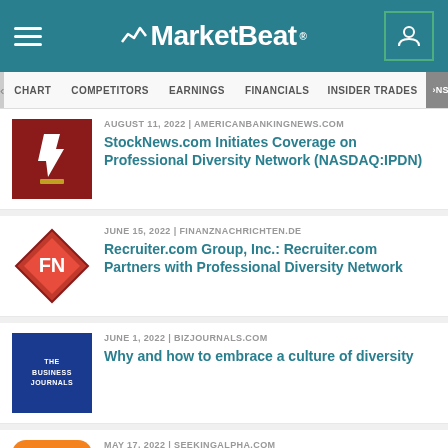MarketBeat
CHART | COMPETITORS | EARNINGS | FINANCIALS | INSIDER TRADES | INST
AUGUST 11, 2022 | AMERICANBANKINGNEWS.COM
StockNews.com Initiates Coverage on Professional Diversity Network (NASDAQ:IPDN)
JUNE 15, 2022 | FINANZNACHRICHTEN.DE
Recruiter.com Group, Inc.: Recruiter.com Partners with Professional Diversity Network
JUNE 1, 2022 | BIZJOURNALS.COM
Why and how to embrace a culture of diversity
MAY 17, 2022 | SEEKINGALPHA.COM
Professional Diversity GAAP EPS of -$0.06, revenue of $2.05M